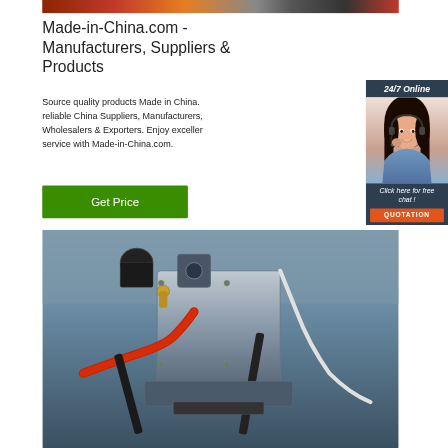[Figure (photo): Top partial photo of industrial/manufacturing equipment, cropped strip]
Made-in-China.com - Manufacturers, Suppliers & Products
[Figure (photo): Customer service woman wearing headset, 24/7 Online support sidebar with dark blue background, 'Click here for free chat!' text, and orange QUOTATION button]
Source quality products Made in China. reliable China Suppliers, Manufacturers, Wholesalers & Exporters. Enjoy exceller service with Made-in-China.com.
[Figure (other): Green 'Get Price' button]
[Figure (photo): Close-up photo of industrial welding or manufacturing machine equipment with red hose and metal parts]